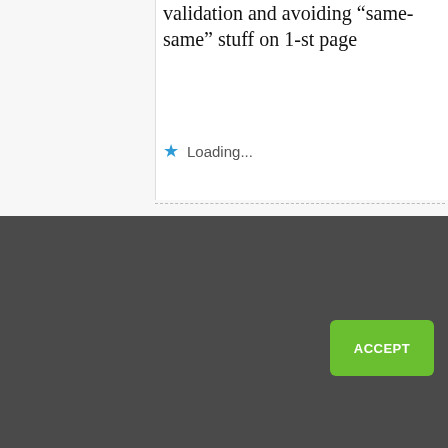validation and avoiding “same-same” stuff on 1-st page
★ Loading...
We use cookies to analyze site traffic and to personalize content and advertising. You can check out our privacy policy to find out more and to customize your privacy settings. By continuing to use this site, you consent to this use. Click here to see our privacy policy.